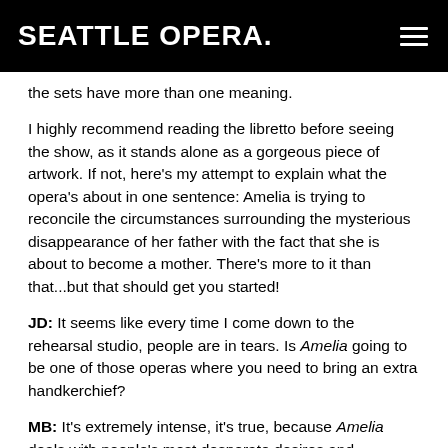SEATTLE OPERA.
the sets have more than one meaning.
I highly recommend reading the libretto before seeing the show, as it stands alone as a gorgeous piece of artwork. If not, here's my attempt to explain what the opera's about in one sentence: Amelia is trying to reconcile the circumstances surrounding the mysterious disappearance of her father with the fact that she is about to become a mother. There's more to it than that...but that should get you started!
JD: It seems like every time I come down to the rehearsal studio, people are in tears. Is Amelia going to be one of those operas where you need to bring an extra handkerchief?
MB: It's extremely intense, it's true, because Amelia deals with people's most desperate desires and